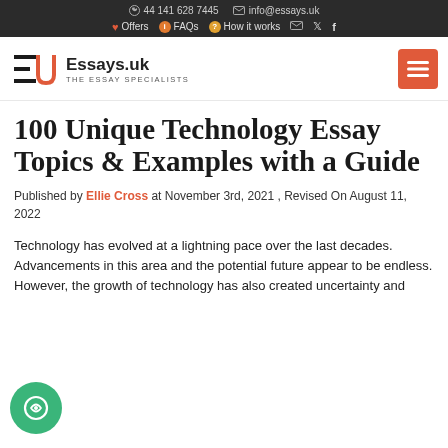44 141 628 7445  info@essays.uk  Offers  FAQs  How it works
[Figure (logo): Essays.uk logo with stylized EU letters and text 'Essays.uk THE ESSAY SPECIALISTS']
100 Unique Technology Essay Topics & Examples with a Guide
Published by Ellie Cross at November 3rd, 2021 , Revised On August 11, 2022
Technology has evolved at a lightning pace over the last decades. Advancements in this area and the potential future appear to be endless. However, the growth of technology has also created uncertainty and